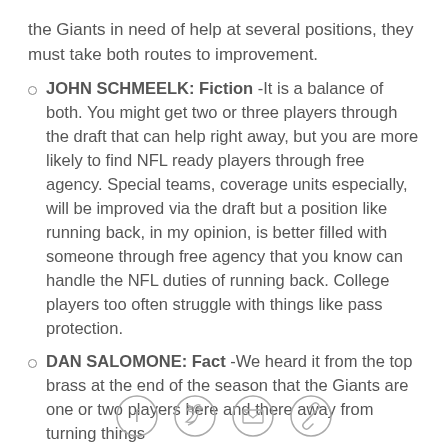the Giants in need of help at several positions, they must take both routes to improvement.
JOHN SCHMEELK: Fiction -It is a balance of both. You might get two or three players through the draft that can help right away, but you are more likely to find NFL ready players through free agency. Special teams, coverage units especially, will be improved via the draft but a position like running back, in my opinion, is better filled with someone through free agency that you know can handle the NFL duties of running back. College players too often struggle with things like pass protection.
DAN SALOMONE: Fact -We heard it from the top brass at the end of the season that the Giants are one or two players here and there away from turning things
[Figure (other): Social sharing icons: Facebook, Twitter, Email, Link]